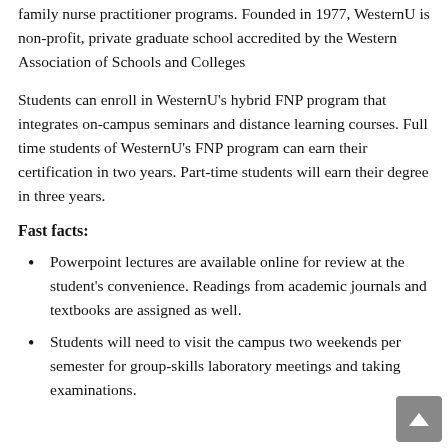higher educational institutions in the US to offer online family nurse practitioner programs. Founded in 1977, WesternU is non-profit, private graduate school accredited by the Western Association of Schools and Colleges
Students can enroll in WesternU's hybrid FNP program that integrates on-campus seminars and distance learning courses. Full time students of WesternU's FNP program can earn their certification in two years. Part-time students will earn their degree in three years.
Fast facts:
Powerpoint lectures are available online for review at the student's convenience. Readings from academic journals and textbooks are assigned as well.
Students will need to visit the campus two weekends per semester for group-skills laboratory meetings and taking examinations.